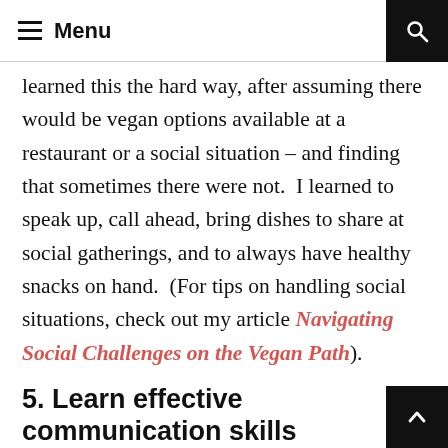Menu
learned this the hard way, after assuming there would be vegan options available at a restaurant or a social situation – and finding that sometimes there were not.  I learned to speak up, call ahead, bring dishes to share at social gatherings, and to always have healthy snacks on hand.  (For tips on handling social situations, check out my article Navigating Social Challenges on the Vegan Path).
5. Learn effective communication skills